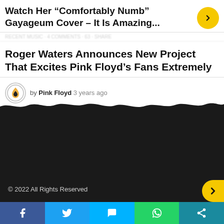Watch Her “Comfortably Numb” Gayageum Cover – It Is Amazing...
Roger Waters Announces New Project That Excites Pink Floyd’s Fans Extremely
by Pink Floyd 3 years ago
© 2022 All Rights Reserved